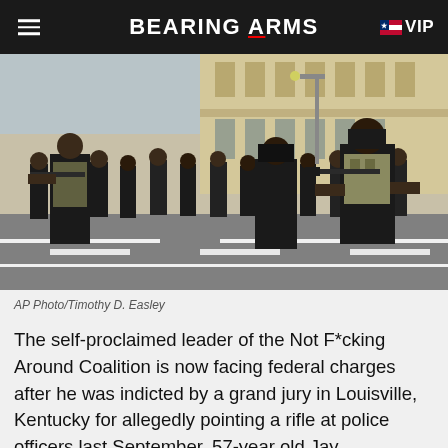BEARING ARMS VIP
[Figure (photo): Group of people dressed in all black tactical gear and carrying rifles marching down an urban street in front of a large classical stone building. AP Photo/Timothy D. Easley]
AP Photo/Timothy D. Easley
The self-proclaimed leader of the Not F*cking Around Coalition is now facing federal charges after he was indicted by a grand jury in Louisville, Kentucky for allegedly pointing a rifle at police officers last September. 57-year old Jay “Grandmaster Jay” Johnso…